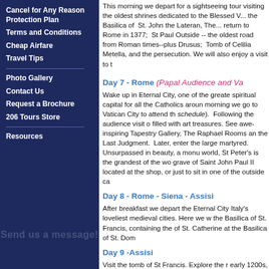Cancel for Any Reason Protection Plan
Terms and Conditions
Cheap Airfare
Travel Tips
Photo Gallery
Contact Us
Request a Brochure
206 Tours Store
Resources
This morning we depart for a sightseeing tour visiting the oldest shrines dedicated to the Blessed Virgin Mary; including the Basilica of St. John the Lateran, The... return to Rome in 1377; St Paul Outside... -- the oldest road from Roman times--plus... Drusus; Tomb of Celilia Metella, and the... persecution. We will also enjoy a visit to t...
Day 7 - Rome (Papal Audience and Va...
Wake up in Eternal City, one of the greate... spiritual capital for all the Catholics aroun... morning we go to Vatican City to attend th... schedule). Following the audience visit o... filled with art treasures. See awe-inspiring... Tapestry Gallery, The Raphael Rooms an... the Last Judgment. Later, enter the large... martyred. Unsurpassed in beauty, a monu... world, St Peter's is the grandest of the wo... grave of Saint John Paul II located at the... shop, or just to sit in one of the outside ca...
Day 8 - Rome - Siena - Assisi
After breakfast we depart the Eternal City... Italy's loveliest medieval cities. Here we w... the Basilica of St. Francis, containing the... of St. Catherine at the Basilica of St. Dom...
Day 9 -Assisi
Visit the tomb of St Francis. Explore the r... early 1200s, the period when St Francis b...